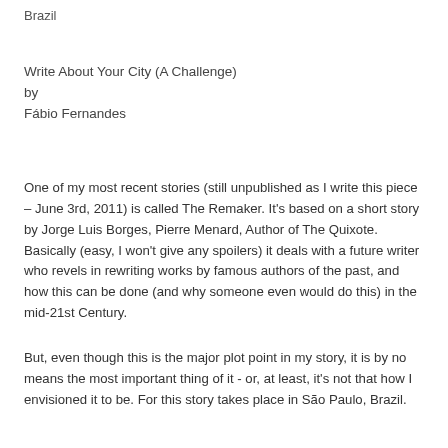Brazil
Write About Your City (A Challenge)
by
Fábio Fernandes
One of my most recent stories (still unpublished as I write this piece – June 3rd, 2011) is called The Remaker. It's based on a short story by Jorge Luis Borges, Pierre Menard, Author of The Quixote. Basically (easy, I won't give any spoilers) it deals with a future writer who revels in rewriting works by famous authors of the past, and how this can be done (and why someone even would do this) in the mid-21st Century.
But, even though this is the major plot point in my story, it is by no means the most important thing of it - or, at least, it's not that how I envisioned it to be. For this story takes place in São Paulo, Brazil.